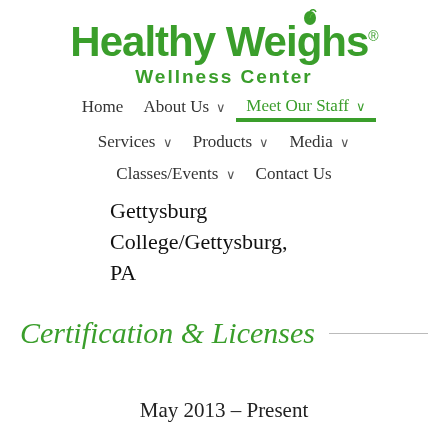[Figure (logo): Healthy Weighs Wellness Center logo with green text and leaf icon]
Home   About Us ∨   Meet Our Staff ∨   Services ∨   Products ∨   Media ∨   Classes/Events ∨   Contact Us
Gettysburg College/Gettysburg, PA
Certification & Licenses
May 2013 – Present